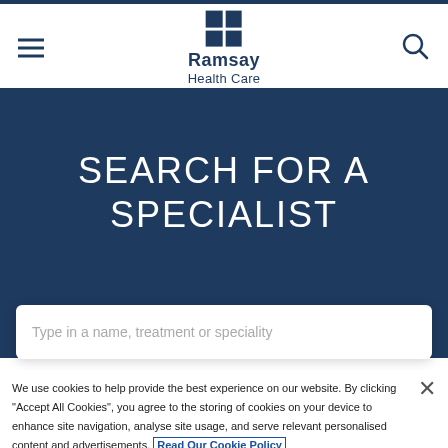Ramsay Health Care — navigation header with logo
SEARCH FOR A SPECIALIST
Type in a name, treatment or speciality
We use cookies to help provide the best experience on our website. By clicking "Accept All Cookies", you agree to the storing of cookies on your device to enhance site navigation, analyse site usage, and serve relevant personalised content and advertisements. Read Our Cookie Policy